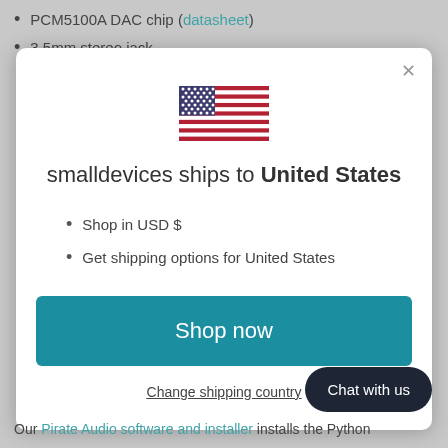PCM5100A DAC chip (datasheet)
3.5mm stereo jack
[Figure (illustration): US flag emoji/icon rendered inline]
smalldevices ships to United States
Shop in USD $
Get shipping options for United States
Shop now
Change shipping country
Chat with us
Our Pirate Audio software and installer installs the Python